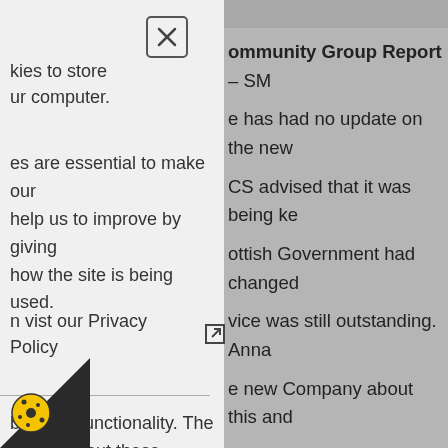kies to store ur computer.
es are essential to make our help us to improve by giving how the site is being used.
n vist our Privacy Policy
ble core functionality. The perly without these led by changing
ommunity Group Report – SM e has had no update on the ne CS advised that it was being ke ottish Government had change vice was still outstanding.  Ann e new Company about this an do this himself, if required.
aries Group Report – LHM ad were on our Agenda today an f Local Authority Chief Housing